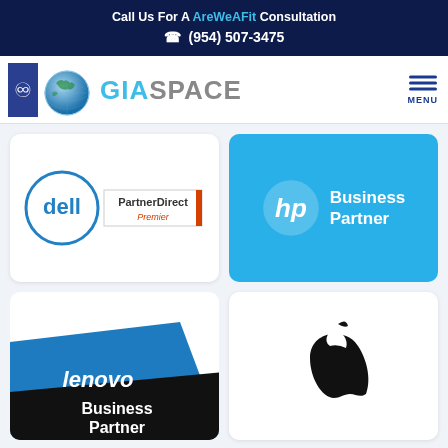Call Us For A AreWeAFit Consultation ☎ (954) 507-3475
[Figure (logo): GIASpace logo with globe and accessibility icon, plus MENU button]
[Figure (logo): Dell PartnerDirect Premier logo]
[Figure (logo): HP Business Partner logo on blue background]
[Figure (logo): Lenovo Business Partner logo]
[Figure (logo): Apple logo]